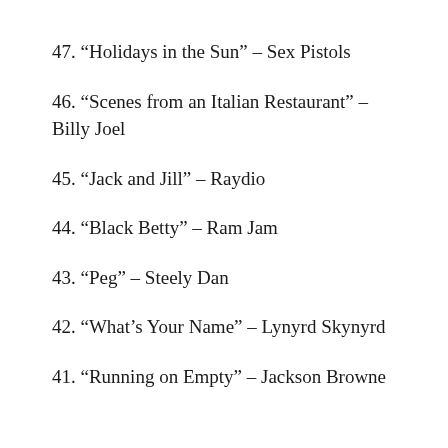47. “Holidays in the Sun” – Sex Pistols
46. “Scenes from an Italian Restaurant” – Billy Joel
45. “Jack and Jill” – Raydio
44. “Black Betty” – Ram Jam
43. “Peg” – Steely Dan
42. “What’s Your Name” – Lynyrd Skynyrd
41. “Running on Empty” – Jackson Browne